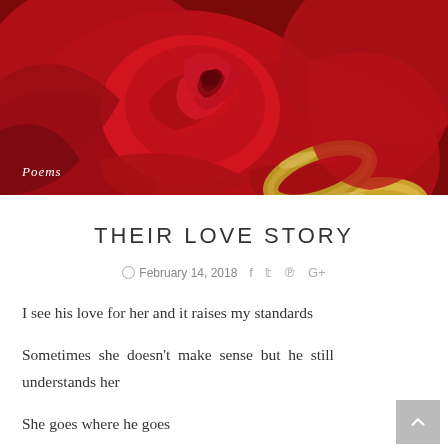[Figure (photo): Close-up photo of a deep red rose with two gold wedding rings placed on the petals. The word 'Poems' appears in italic script text in the lower-left corner of the image.]
THEIR LOVE STORY
February 14, 2018   f   🐦   📌   G+
I see his love for her and it raises my standards
Sometimes she doesn't make sense but he still understands her
She goes where he goes